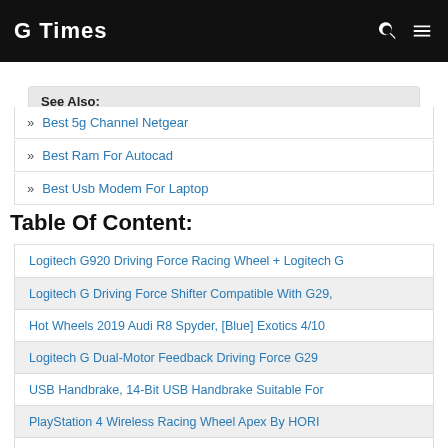G Times
See Also:
Best 5g Channel Netgear
Best Ram For Autocad
Best Usb Modem For Laptop
Table Of Content:
Logitech G920 Driving Force Racing Wheel + Logitech G
Logitech G Driving Force Shifter Compatible With G29,
Hot Wheels 2019 Audi R8 Spyder, [Blue] Exotics 4/10
Logitech G Dual-Motor Feedback Driving Force G29
USB Handbrake, 14-Bit USB Handbrake Suitable For
PlayStation 4 Wireless Racing Wheel Apex By HORI
Thrustmaster T80 Ferrari 488 GTB PS5,PS4,PC